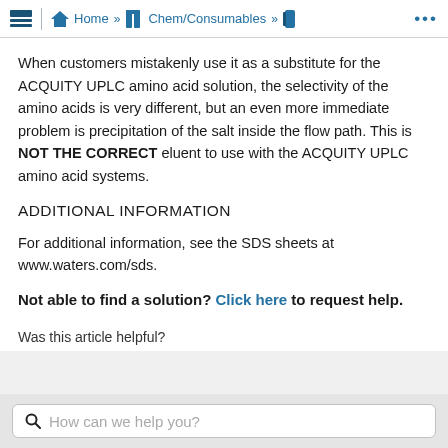Home » Chem/Consumables » ...
When customers mistakenly use it as a substitute for the ACQUITY UPLC amino acid solution, the selectivity of the amino acids is very different, but an even more immediate problem is precipitation of the salt inside the flow path. This is NOT THE CORRECT eluent to use with the ACQUITY UPLC amino acid systems.
ADDITIONAL INFORMATION
For additional information, see the SDS sheets at www.waters.com/sds.
Not able to find a solution? Click here to request help.
Was this article helpful?
How can we help you?